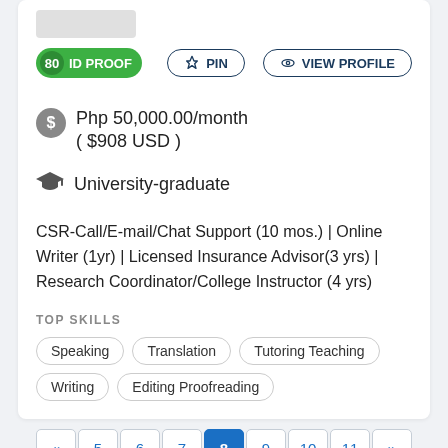[Figure (other): Placeholder image bar at top of profile card]
80 ID PROOF | PIN | VIEW PROFILE
Php 50,000.00/month ( $908 USD )
University-graduate
CSR-Call/E-mail/Chat Support (10 mos.) | Online Writer (1yr) | Licensed Insurance Advisor(3 yrs) | Research Coordinator/College Instructor (4 yrs)
TOP SKILLS
Speaking
Translation
Tutoring Teaching
Writing
Editing Proofreading
« 5 6 7 8 9 10 11 »